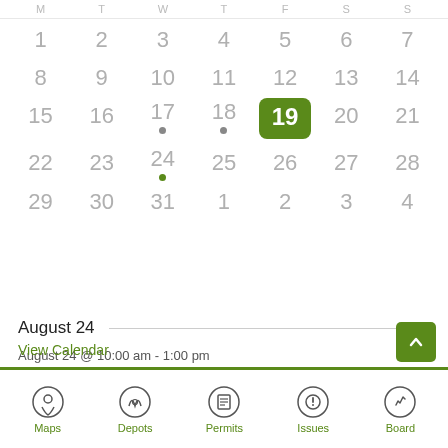[Figure (other): Calendar view showing a month with dates 1-31 and overflow dates. Day 19 is highlighted with green background (today). Days 17 and 18 have gray dots indicating events. Day 24 has a green dot indicating an event.]
August 24
August 24 @ 10:00 am - 1:00 pm
Audit Committee Meeting
View Calendar
Maps  Depots  Permits  Issues  Board